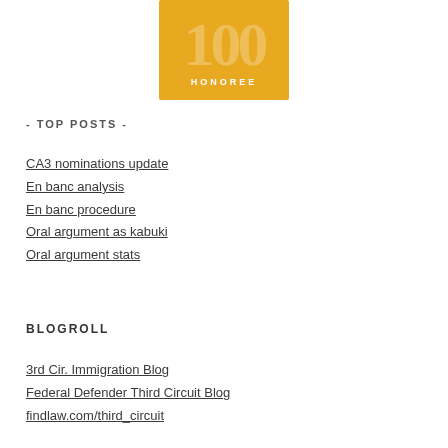[Figure (logo): Gold award badge with large '100' text and 'HONOREE' label below]
- TOP POSTS -
CA3 nominations update
En banc analysis
En banc procedure
Oral argument as kabuki
Oral argument stats
BLOGROLL
3rd Cir. Immigration Blog
Federal Defender Third Circuit Blog
findlaw.com/third_circuit